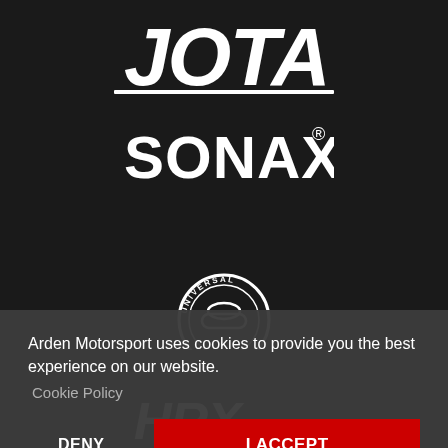[Figure (logo): JOTA logo in white italic stylized text on dark background]
[Figure (logo): SONAX logo in white bold text with registered trademark symbol on dark background]
[Figure (logo): Universal logo circular badge with car silhouette on dark background]
Arden Motorsport uses cookies to provide you the best experience on our website.
Cookie Policy
DENY
I ACCEPT
[Figure (logo): HRX logo in white stylized text at bottom of dark background]